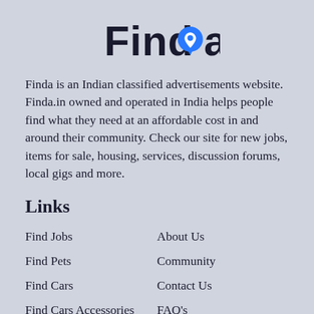[Figure (logo): Finda logo - stylized text 'Finda' with a blue location pin icon replacing the dot on the letter i]
Finda is an Indian classified advertisements website. Finda.in owned and operated in India helps people find what they need at an affordable cost in and around their community. Check our site for new jobs, items for sale, housing, services, discussion forums, local gigs and more.
Links
Find Jobs
About Us
Find Pets
Community
Find Cars
Contact Us
Find Cars Accessories
FAQ's
Find Real Estate
Blogs